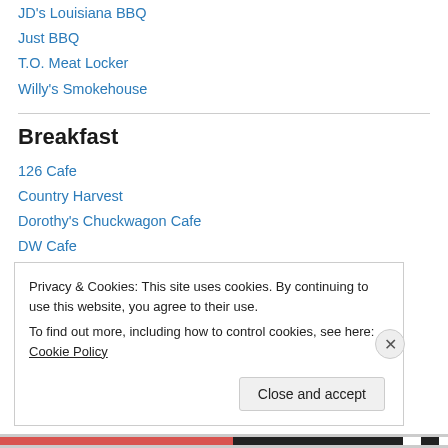JD's Louisiana BBQ
Just BBQ
T.O. Meat Locker
Willy's Smokehouse
Breakfast
126 Cafe
Country Harvest
Dorothy's Chuckwagon Cafe
DW Cafe
Harold's House of Omelettes
Privacy & Cookies: This site uses cookies. By continuing to use this website, you agree to their use.
To find out more, including how to control cookies, see here: Cookie Policy